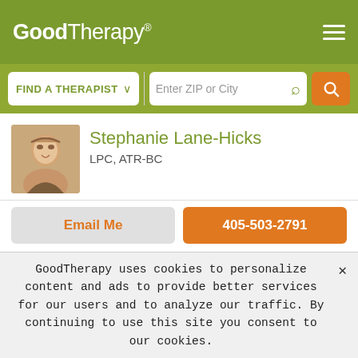GoodTherapy®
FIND A THERAPIST  ∨  Enter ZIP or City
Stephanie Lane-Hicks
LPC, ATR-BC
Email Me
405-503-2791
Elders
LANGUAGES
English
GROUPS I WORK WITH
GoodTherapy uses cookies to personalize content and ads to provide better services for our users and to analyze our traffic. By continuing to use this site you consent to our cookies.